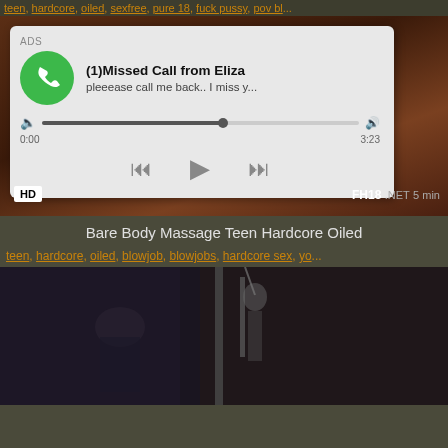teen, hardcore, oiled, sexfree, pure 18, fuck pussy, pov bl...
[Figure (screenshot): Video player showing a massage video with an ad overlay popup for a missed call notification from Eliza. Ad shows green phone icon, title '(1)Missed Call from Eliza', subtitle 'pleeease call me back.. I miss y...', audio progress bar, and playback controls (rewind, play, fast-forward). Video has HD badge and FH18.NET 5 min label.]
Bare Body Massage Teen Hardcore Oiled
teen, hardcore, oiled, blowjob, blowjobs, hardcore sex, yo...
[Figure (screenshot): Dark video thumbnail showing a person in black clothing near a metal pole/bar structure, appears to be a BDSM-themed video thumbnail]